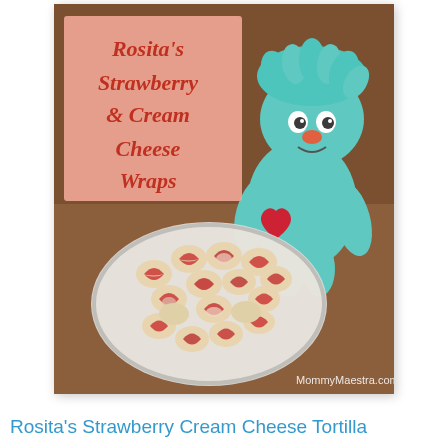[Figure (photo): Photo of Rosita's Strawberry & Cream Cheese Wraps. A pink overlay text box in the upper left reads 'Rosita's Strawberry & Cream Cheese Wraps' in red-orange italic text. A teal/turquoise fuzzy monster toy (Rosita from Sesame Street) sits in the upper right holding a red heart. In the center/lower portion is a crystal plate filled with pinwheel-style tortilla wrap slices showing red strawberry filling and cream cheese spiral pattern. Watermark reads 'MommyMaestra.com' in lower right.]
Rosita's Strawberry Cream Cheese Tortilla